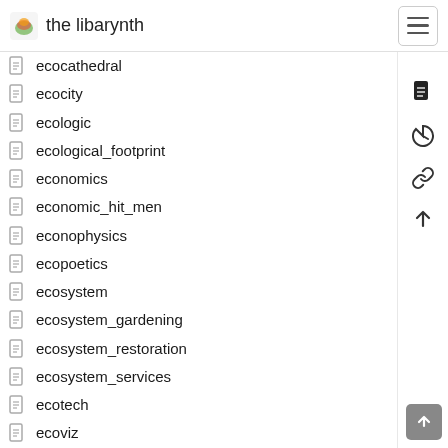the libarynth
ecocathedral
ecocity
ecologic
ecological_footprint
economics
economic_hit_men
econophysics
ecopoetics
ecosystem
ecosystem_gardening
ecosystem_restoration
ecosystem_services
ecotech
ecoviz
edge_cases
edible_gardening
edible_gardens_seed_nurseries
edible_guilds